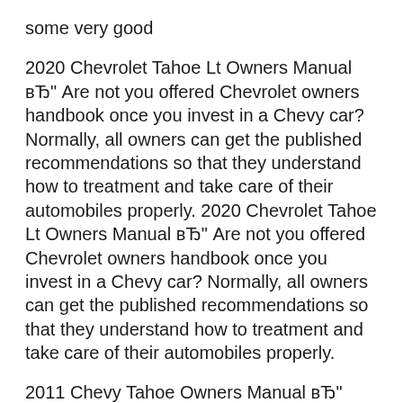some very good
2020 Chevrolet Tahoe Lt Owners Manual вЂ" Are not you offered Chevrolet owners handbook once you invest in a Chevy car? Normally, all owners can get the published recommendations so that they understand how to treatment and take care of their automobiles properly. 2020 Chevrolet Tahoe Lt Owners Manual вЂ" Are not you offered Chevrolet owners handbook once you invest in a Chevy car? Normally, all owners can get the published recommendations so that they understand how to treatment and take care of their automobiles properly.
2011 Chevy Tahoe Owners Manual вЂ"